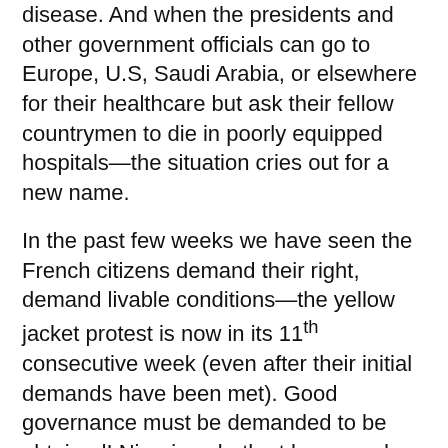disease. And when the presidents and other government officials can go to Europe, U.S, Saudi Arabia, or elsewhere for their healthcare but ask their fellow countrymen to die in poorly equipped hospitals—the situation cries out for a new name.
In the past few weeks we have seen the French citizens demand their right, demand livable conditions—the yellow jacket protest is now in its 11th consecutive week (even after their initial demands have been met). Good governance must be demanded to be obtained! Nigerians both at home and abroad, let's stop letting the political elite loot the land. In whatever foreign country you are, when your president visits that country for medical care, organize, and carry placards to the front of the hospital to demand he build hospitals back home that both he and others can use. When they buy mansions in the foreign land where you are, organize and march to the city hall of that town with placard and demand that the source of the money be ascertained